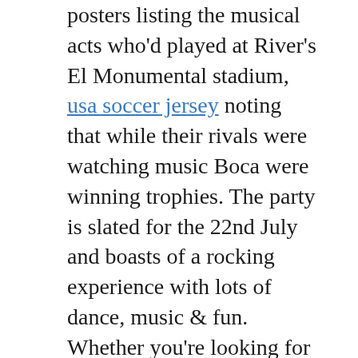posters listing the musical acts who'd played at River's El Monumental stadium, usa soccer jersey noting that while their rivals were watching music Boca were winning trophies. The party is slated for the 22nd July and boasts of a rocking experience with lots of dance, music & fun. Whether you're looking for jobs in London or Manchester, you're sure to find the perfect job to suit your skills and experience.
Attending a Boca-River game, especially at La Bombonera, is a once-in-a-lifetime experience. Boca-River is not the only rivalry on our list to be sparked by status anxiety and snobbery – leaf through the other 49 and you'll find plenty of examples of hoi polloi vs bourgeoisie. Pretty much any world-class